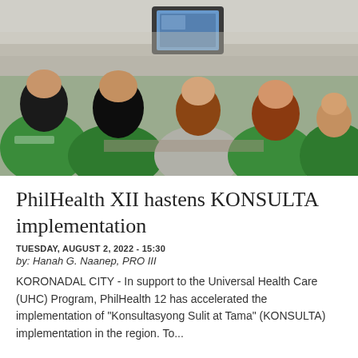[Figure (photo): People in green shirts sitting and looking at a laptop/monitor screen in an indoor setting, viewed from behind. A mix of people including someone in a grey shirt in the center.]
PhilHealth XII hastens KONSULTA implementation
TUESDAY, AUGUST 2, 2022 - 15:30
by: Hanah G. Naanep, PRO III
KORONADAL CITY - In support to the Universal Health Care (UHC) Program, PhilHealth 12 has accelerated the implementation of "Konsultasyong Sulit at Tama" (KONSULTA) implementation in the region. To...